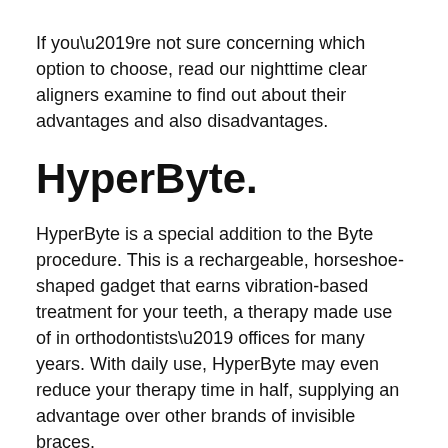If you’re not sure concerning which option to choose, read our nighttime clear aligners examine to find out about their advantages and also disadvantages.
HyperByte.
HyperByte is a special addition to the Byte procedure. This is a rechargeable, horseshoe-shaped gadget that earns vibration-based treatment for your teeth, a therapy made use of in orthodontists’ offices for many years. With daily use, HyperByte may even reduce your therapy time in half, supplying an advantage over other brands of invisible braces.